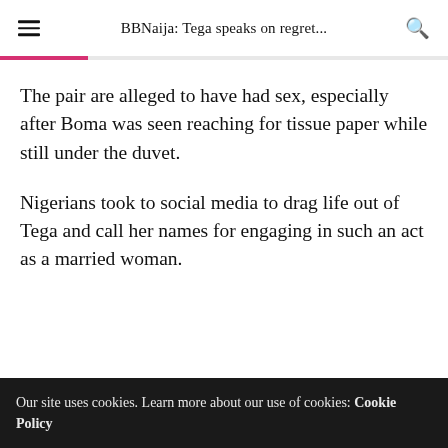BBNaija: Tega speaks on regret...
The pair are alleged to have had sex, especially after Boma was seen reaching for tissue paper while still under the duvet.
Nigerians took to social media to drag life out of Tega and call her names for engaging in such an act as a married woman.
Our site uses cookies. Learn more about our use of cookies: Cookie Policy